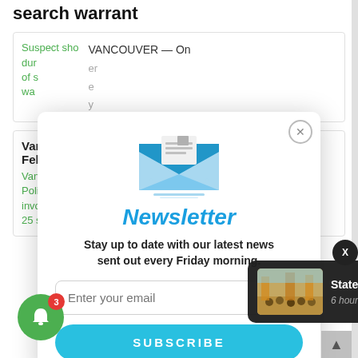search warrant
[Figure (screenshot): Broken image placeholder for suspect photo with green alt text]
VANCOUVER — On
er e y
[Figure (infographic): Newsletter modal popup with email envelope icon, title 'Newsletter', subtitle 'Stay up to date with our latest news sent out every Friday morning.', email input field, and SUBSCRIBE button]
Van Feb in
[Figure (screenshot): Broken image placeholder for Vancouver Police photo with green alt text]
involve 25 shooting Washington State Department of
[Figure (photo): Toast notification showing State of the Clark County Fair thumbnail image]
State of the Clark County Fair
6 hours ago